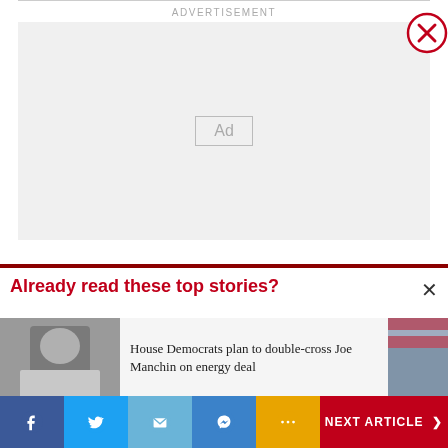ADVERTISEMENT
[Figure (other): Empty advertisement placeholder box with 'Ad' label in center and red X close button in top right]
Already read these top stories?
[Figure (photo): News story card showing photo of Joe Manchin on left and US flag photo on right]
House Democrats plan to double-cross Joe Manchin on energy deal
NEXT ARTICLE >